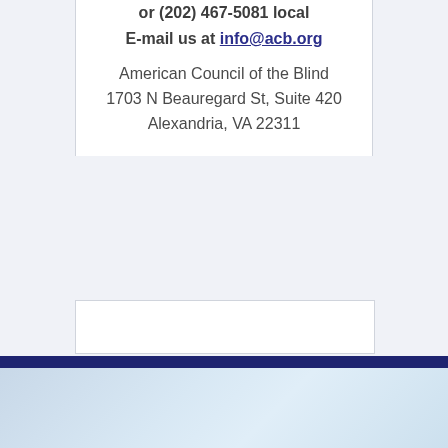or (202) 467-5081 local
E-mail us at info@acb.org
American Council of the Blind
1703 N Beauregard St, Suite 420
Alexandria, VA 22311